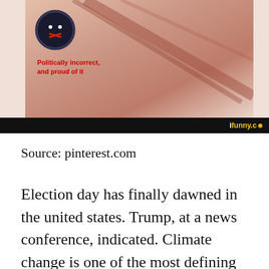[Figure (screenshot): Screenshot of an image from iFunny showing a 'Politically incorrect, and proud of it' badge/meme with a dark circular badge icon and red text on a skin-toned background. The iFunny watermark bar is visible at the bottom of the image.]
Source: pinterest.com
Election day has finally dawned in the united states. Trump, at a news conference, indicated. Climate change is one of the most defining issues of our time, and those interested in environmental policies should definitely check out sg climate rally's instagram account. Welcome to